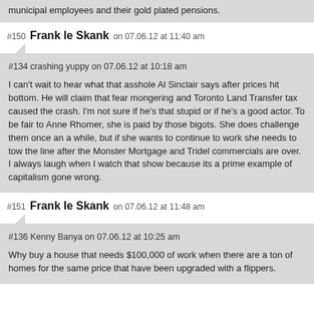municipal employees and their gold plated pensions.
#150 Frank le Skank on 07.06.12 at 11:40 am
#134 crashing yuppy on 07.06.12 at 10:18 am

I can't wait to hear what that asshole Al Sinclair says after prices hit bottom. He will claim that fear mongering and Toronto Land Transfer tax caused the crash. I'm not sure if he's that stupid or if he's a good actor. To be fair to Anne Rhomer, she is paid by those bigots. She does challenge them once an a while, but if she wants to continue to work she needs to tow the line after the Monster Mortgage and Tridel commercials are over. I always laugh when I watch that show because its a prime example of capitalism gone wrong.
#151 Frank le Skank on 07.06.12 at 11:48 am
#136 Kenny Banya on 07.06.12 at 10:25 am

Why buy a house that needs $100,000 of work when there are a ton of homes for the same price that have been upgraded with a flippers.